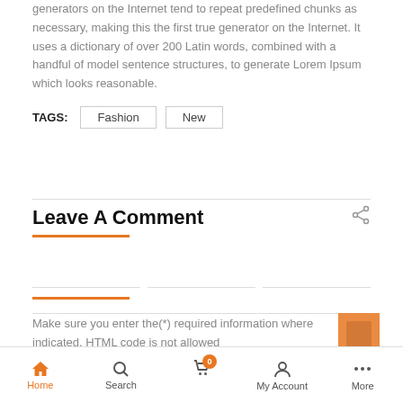generators on the Internet tend to repeat predefined chunks as necessary, making this the first true generator on the Internet. It uses a dictionary of over 200 Latin words, combined with a handful of model sentence structures, to generate Lorem Ipsum which looks reasonable.
TAGS: Fashion New
Leave A Comment
Make sure you enter the(*) required information where indicated. HTML code is not allowed
Home Search 0 My Account More